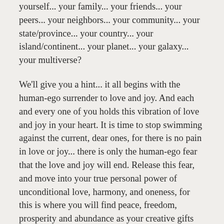yourself... your family... your friends... your peers... your neighbors... your community... your state/province... your country... your island/continent... your planet... your galaxy... your multiverse?
We'll give you a hint... it all begins with the human-ego surrender to love and joy. And each and every one of you holds this vibration of love and joy in your heart. It is time to stop swimming against the current, dear ones, for there is no pain in love or joy... there is only the human-ego fear that the love and joy will end. Release this fear, and move into your true personal power of unconditional love, harmony, and oneness, for this is where you will find peace, freedom, prosperity and abundance as your creative gifts and talents begin to flow and increase.
For those of you still skeptical, let us ask you, how much are you rewarded for being fearful, doubtful,